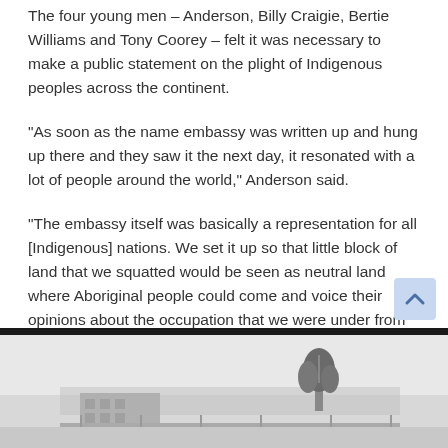The four young men – Anderson, Billy Craigie, Bertie Williams and Tony Coorey – felt it was necessary to make a public statement on the plight of Indigenous peoples across the continent.
“As soon as the name embassy was written up and hung up there and they saw it the next day, it resonated with a lot of people around the world,” Anderson said.
“The embassy itself was basically a representation for all [Indigenous] nations. We set it up so that little block of land that we squatted would be seen as neutral land where Aboriginal people could come and voice their opinions about the occupation that we were under from the British. ”
[Figure (photo): Black and white photograph showing a building with trees in the background, partially visible at the bottom of the page.]